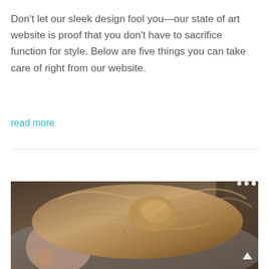Don't let our sleek design fool you—our state of art website is proof that you don't have to sacrifice function for style. Below are five things you can take care of right from our website.
read more
[Figure (photo): A person with messy/upswept hair lying down or resting, photographed from above/side. The background appears dark with warm tones. Navigation dots and an upward arrow are overlaid on the image.]